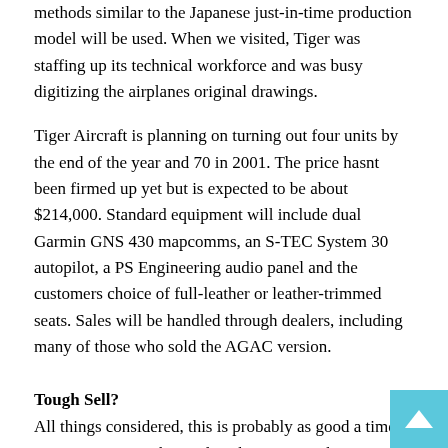methods similar to the Japanese just-in-time production model will be used. When we visited, Tiger was staffing up its technical workforce and was busy digitizing the airplanes original drawings.
Tiger Aircraft is planning on turning out four units by the end of the year and 70 in 2001. The price hasnt been firmed up yet but is expected to be about $214,000. Standard equipment will include dual Garmin GNS 430 mapcomms, an S-TEC System 30 autopilot, a PS Engineering audio panel and the customers choice of full-leather or leather-trimmed seats. Sales will be handled through dealers, including many of those who sold the AGAC version.
Tough Sell?
All things considered, this is probably as good a time as any to get into the airplane business, with a strong economy and a